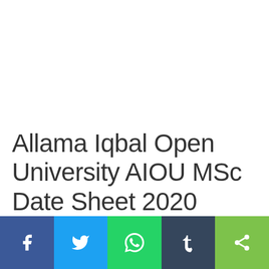Allama Iqbal Open University AIOU MSc Date Sheet 2020
[Figure (other): Social sharing bar with five buttons: Facebook (dark blue), Twitter (light blue), WhatsApp (green), Tumblr (dark blue-grey), Share/generic (green)]